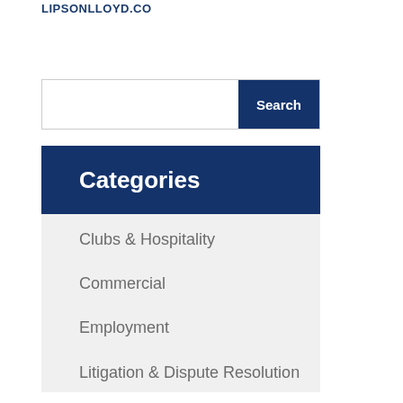LIPSONLLOYD.CO
Search
Categories
Clubs & Hospitality
Commercial
Employment
Litigation & Dispute Resolution